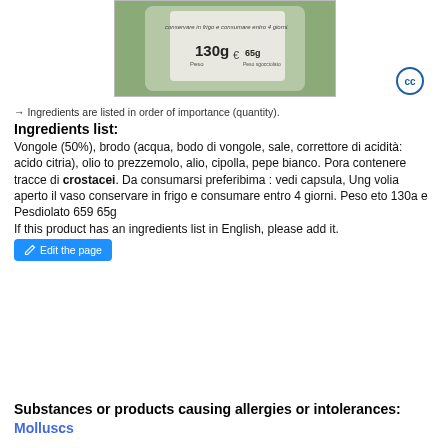[Figure (photo): Photo of a jar/can product label showing weight 130g and Peso sgocciolato 65g, with Italian text about storage instructions]
→ Ingredients are listed in order of importance (quantity).
Ingredients list:
Vongole (50%), brodo (acqua, bodo di vongole, sale, correttore di acidità: acido citria), olio to prezzemolo, alio, cipolla, pepe bianco. Pora contenere tracce di crostacei. Da consumarsi preferibima : vedi capsula, Ung volia aperto il vaso conservare in frigo e consumare entro 4 giorni. Peso eto 130a e Pesdiolato 659 65g
If this product has an ingredients list in English, please add it.
Substances or products causing allergies or intolerances: Molluscs